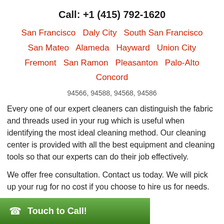Call: +1 (415) 792-1620
San Francisco  Daly City  South San Francisco  San Mateo  Alameda  Hayward  Union City  Fremont  San Ramon  Pleasanton  Palo-Alto  Concord
94566, 94588, 94568, 94586
Every one of our expert cleaners can distinguish the fabric and threads used in your rug which is useful when identifying the most ideal cleaning method. Our cleaning center is provided with all the best equipment and cleaning tools so that our experts can do their job effectively.
We offer free consultation. Contact us today. We will pick up your rug for no cost if you choose to hire us for needs.
Touch to Call!